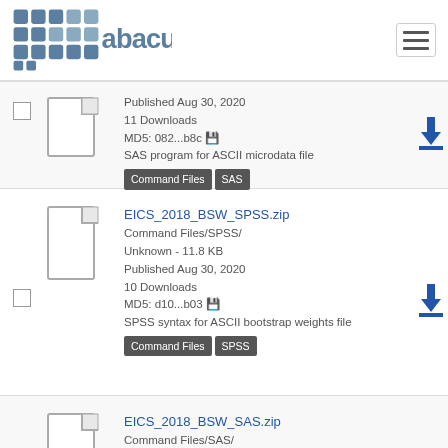abacus [logo]
Published Aug 30, 2020
11 Downloads
MD5: 082...b8c
SAS program for ASCII microdata file
Command Files | SAS
EICS_2018_BSW_SPSS.zip
Command Files/SPSS/
Unknown - 11.8 KB
Published Aug 30, 2020
10 Downloads
MD5: d10...b03
SPSS syntax for ASCII bootstrap weights file
Command Files | SPSS
EICS_2018_BSW_SAS.zip
Command Files/SAS/
Unknown - 35.7 KB
Published Aug 30, 2020
10 Downloads
MD5: 2b2...d47
SAS program for ASCII bootstrap weights file